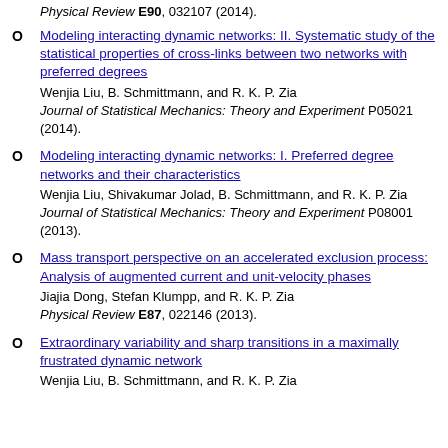Physical Review E90, 032107 (2014).
O Modeling interacting dynamic networks: II. Systematic study of the statistical properties of cross-links between two networks with preferred degrees
Wenjia Liu, B. Schmittmann, and R. K. P. Zia
Journal of Statistical Mechanics: Theory and Experiment P05021 (2014).
O Modeling interacting dynamic networks: I. Preferred degree networks and their characteristics
Wenjia Liu, Shivakumar Jolad, B. Schmittmann, and R. K. P. Zia
Journal of Statistical Mechanics: Theory and Experiment P08001 (2013).
O Mass transport perspective on an accelerated exclusion process: Analysis of augmented current and unit-velocity phases
Jiajia Dong, Stefan Klumpp, and R. K. P. Zia
Physical Review E87, 022146 (2013).
O Extraordinary variability and sharp transitions in a maximally frustrated dynamic network
Wenjia Liu, B. Schmittmann, and R. K. P. Zia